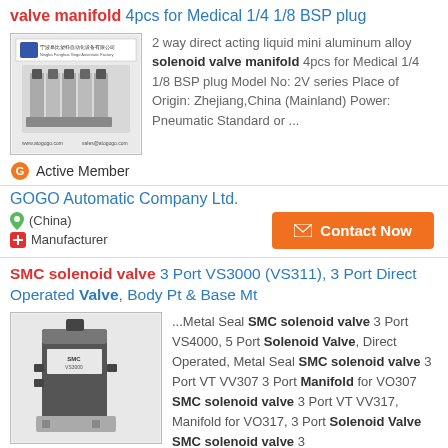valve manifold 4pcs for Medical 1/4 1/8 BSP plug
2 way direct acting liquid mini aluminum alloy solenoid valve manifold 4pcs for Medical 1/4 1/8 BSP plug Model No: 2V series Place of Origin: Zhejiang,China (Mainland) Power: Pneumatic Standard or ...
Active Member
GOGO Automatic Company Ltd.
(China)
Manufacturer
Contact Now
SMC solenoid valve 3 Port VS3000 (VS311), 3 Port Direct Operated Valve, Body Pt & Base Mt
...Metal Seal SMC solenoid valve 3 Port VS4000, 5 Port Solenoid Valve, Direct Operated, Metal Seal SMC solenoid valve 3 Port VT VV307 3 Port Manifold for VO307 SMC solenoid valve 3 Port VT VV317, Manifold for VO317, 3 Port Solenoid Valve SMC solenoid valve 3
[Figure (photo): Photo of a valve manifold product with GOGO branding]
[Figure (photo): Photo of SMC solenoid valve black metal unit]